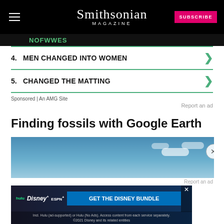Smithsonian MAGAZINE — SUBSCRIBE
4. MEN CHANGED INTO WOMEN
5. CHANGED THE MATTING
Sponsored | An AMG Site
Report an ad
Finding fossils with Google Earth
[Figure (photo): Sky with clouds — article header image with close button]
Report an ad
[Figure (screenshot): Disney Bundle advertisement: Hulu, Disney+, ESPN+ — GET THE DISNEY BUNDLE. Incl. Hulu (ad-supported) or Hulu (No Ads). Access content from each service separately. ©2021 Disney and its related entities]